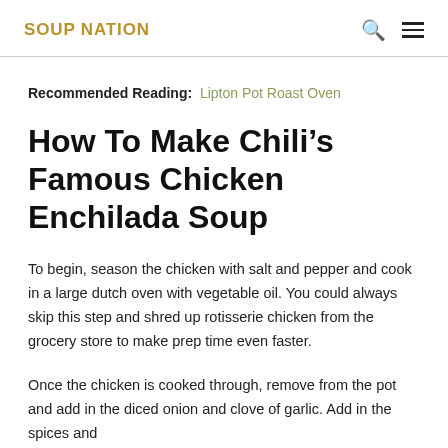SOUP NATION
Recommended Reading:  Lipton Pot Roast Oven
How To Make Chili’s Famous Chicken Enchilada Soup
To begin, season the chicken with salt and pepper and cook in a large dutch oven with vegetable oil. You could always skip this step and shred up rotisserie chicken from the grocery store to make prep time even faster.
Once the chicken is cooked through, remove from the pot and add in the diced onion and clove of garlic. Add in the spices and